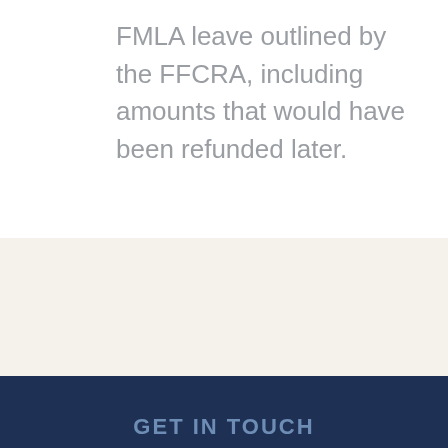FMLA leave outlined by the FFCRA, including amounts that would have been refunded later.
GET IN TOUCH